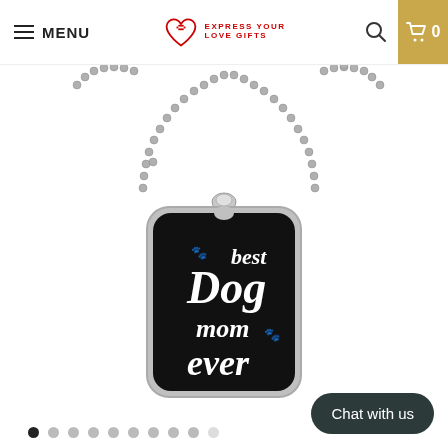MENU | EXPRESS YOUR LOVE GIFTS | 0
Bestseller
[Figure (photo): A black military-style dog tag necklace with a silver ball chain. The dog tag reads 'best Dog mom ever' in white script lettering with paw print icons.]
Chat with us